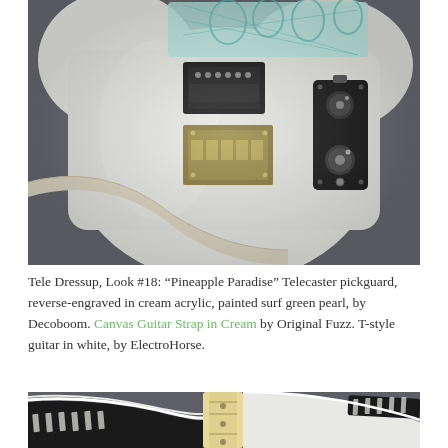[Figure (photo): Close-up of a white Telecaster-style electric guitar body showing a teal/surf green pineapple-patterned pickguard, black pickup, gold bridge hardware, black control plate with chrome knobs, and a cream canvas guitar strap across the body. Background is dark gray.]
Tele Dressup, Look #18: “Pineapple Paradise” Telecaster pickguard, reverse-engraved in cream acrylic, painted surf green pearl, by Decoboom. Canvas Guitar Strap in Cream by Original Fuzz. T-style guitar in white, by ElectroHorse.
[Figure (photo): Partial view of a natural maple neck Telecaster-style guitar with a black and white striped guitar strap, photographed against a gray background.]